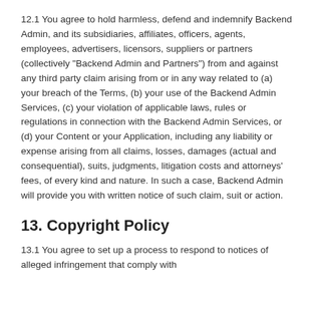12.1 You agree to hold harmless, defend and indemnify Backend Admin, and its subsidiaries, affiliates, officers, agents, employees, advertisers, licensors, suppliers or partners (collectively "Backend Admin and Partners") from and against any third party claim arising from or in any way related to (a) your breach of the Terms, (b) your use of the Backend Admin Services, (c) your violation of applicable laws, rules or regulations in connection with the Backend Admin Services, or (d) your Content or your Application, including any liability or expense arising from all claims, losses, damages (actual and consequential), suits, judgments, litigation costs and attorneys' fees, of every kind and nature. In such a case, Backend Admin will provide you with written notice of such claim, suit or action.
13. Copyright Policy
13.1 You agree to set up a process to respond to notices of alleged infringement that comply with